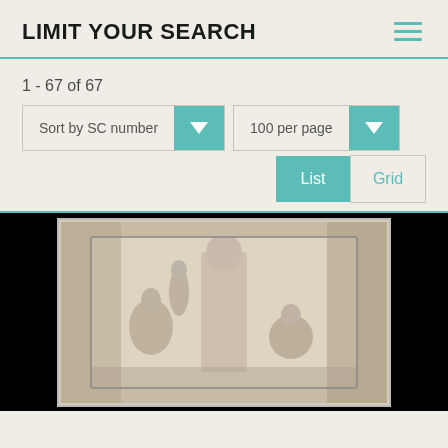LIMIT YOUR SEARCH
1 - 67 of 67
Sort by SC number
100 per page
List
Grid
[Figure (photo): A sepia-toned historical photograph showing classical statues or figures in relief, against a dark background. The image appears to be an old photographic print with a lighter central area surrounded by black.]